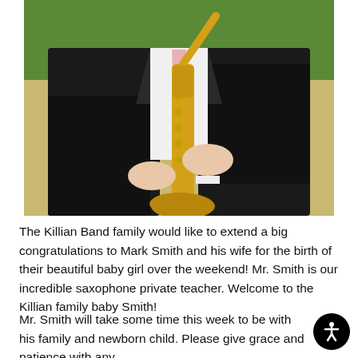[Figure (photo): A person in a dark suit with a pink tie holding a gold saxophone, photographed outdoors with a blurred green background.]
The Killian Band family would like to extend a big congratulations to Mark Smith and his wife for the birth of their beautiful baby girl over the weekend! Mr. Smith is our incredible saxophone private teacher. Welcome to the Killian family baby Smith!
Mr. Smith will take some time this week to be with his family and newborn child. Please give grace and patience with any